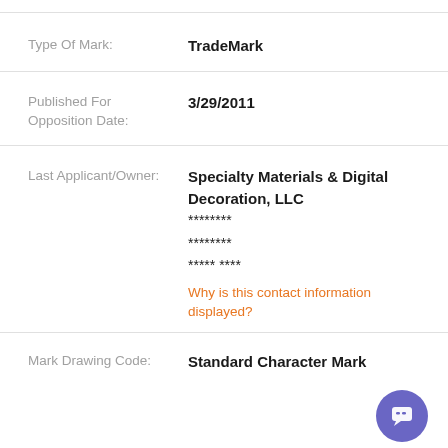Type Of Mark: TradeMark
Published For Opposition Date: 3/29/2011
Last Applicant/Owner: Specialty Materials & Digital Decoration, LLC
********
********
***** ****
Why is this contact information displayed?
Mark Drawing Code: Standard Character Mark